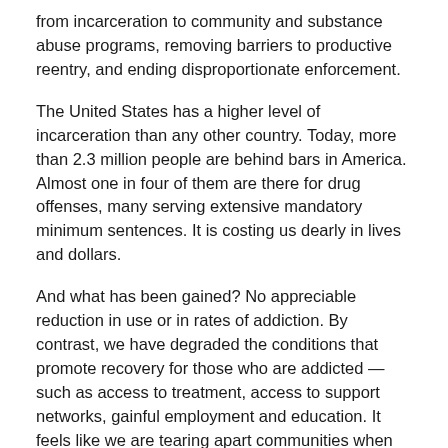from incarceration to community and substance abuse programs, removing barriers to productive reentry, and ending disproportionate enforcement.
The United States has a higher level of incarceration than any other country. Today, more than 2.3 million people are behind bars in America. Almost one in four of them are there for drug offenses, many serving extensive mandatory minimum sentences. It is costing us dearly in lives and dollars.
And what has been gained? No appreciable reduction in use or in rates of addiction. By contrast, we have degraded the conditions that promote recovery for those who are addicted — such as access to treatment, access to support networks, gainful employment and education. It feels like we are tearing apart communities when we don't need to. In 2012, upward of 1.5 million Americans were arrested for drugs. More than 80% of those arrests were for possession of small amounts.
Meanwhile, focusing too much attention on drug possessors